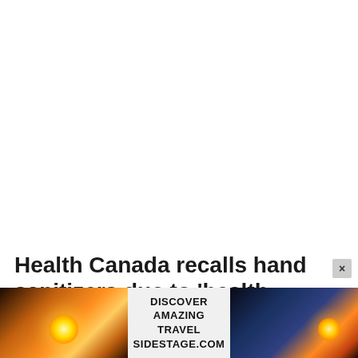Health Canada recalls hand sanitizers due to 'health risks'
Health Canada says that it will update this list if it
[Figure (other): Advertisement banner showing sunset/travel imagery with text: DISCOVER AMAZING TRAVEL SIDESTAGE.COM]